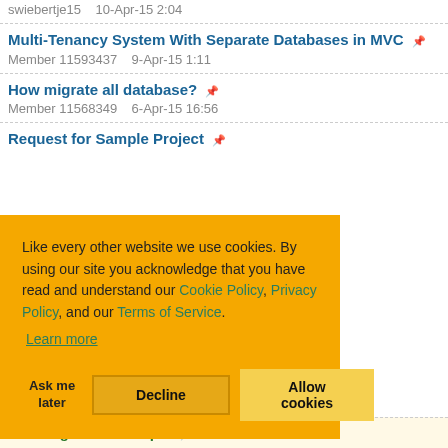swiebertje15   10-Apr-15 2:04
Multi-Tenancy System With Separate Databases in MVC
Member 11593437   9-Apr-15 1:11
How migrate all database?
Member 11568349   6-Apr-15 16:56
Request for Sample Project
Like every other website we use cookies. By using our site you acknowledge that you have read and understand our Cookie Policy, Privacy Policy, and our Terms of Service.
Learn more
Ask me later   Decline   Allow cookies
Re: Single DB example